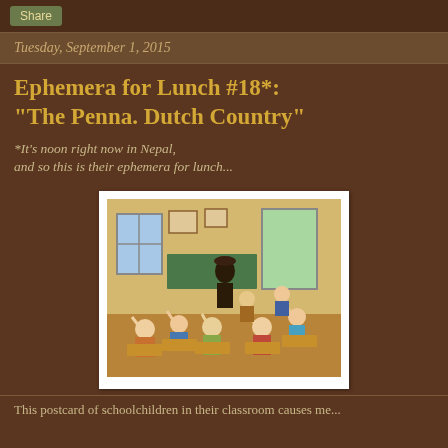Share
Tuesday, September 1, 2015
Ephemera for Lunch #18*: "The Penna. Dutch Country"
*It's noon right now in Nepal, and so this is their ephemera for lunch...
[Figure (photo): Vintage photograph of schoolchildren in a classroom with hands raised, seated at wooden desks. A teacher figure stands at the back. Colorful classroom setting with windows and wall decorations.]
This postcard of schoolchildren in their classroom causes me...